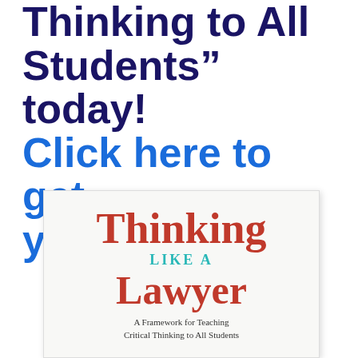Thinking to All Students" today! Click here to get your copy.
[Figure (illustration): Book cover for 'Thinking Like a Lawyer: A Framework for Teaching Critical Thinking to All Students'. Cover shows 'Thinking' in large red serif font, 'LIKE A' in teal uppercase, 'Lawyer' in large red serif font, and subtitle in smaller dark text.]